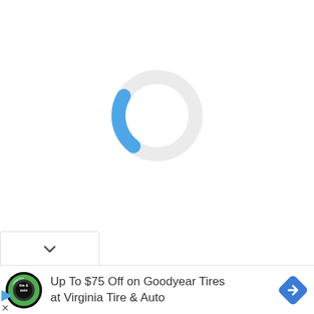[Figure (other): A circular loading spinner with a light gray ring and a blue arc segment at the bottom, indicating a page loading state. The spinner is centered in the upper white area of the page.]
[Figure (other): A dropdown/chevron control bar at the bottom-left showing a downward chevron (v) symbol inside a white rounded rectangle with a light border.]
Up To $75 Off on Goodyear Tires at Virginia Tire & Auto